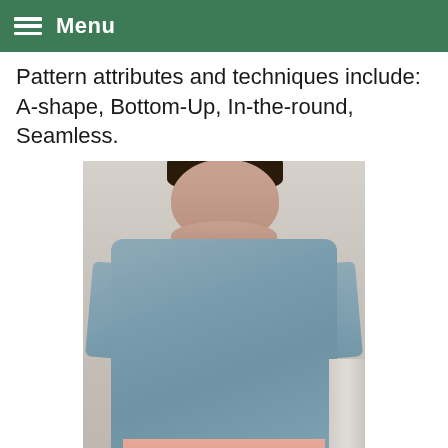Menu
Pattern attributes and techniques include: A-shape, Bottom-Up, In-the-round, Seamless.
[Figure (photo): Woman smiling, wearing a blue-grey textured knit sweater with short sleeves and wide neckline, over a pink dress, standing against a light stone wall background.]